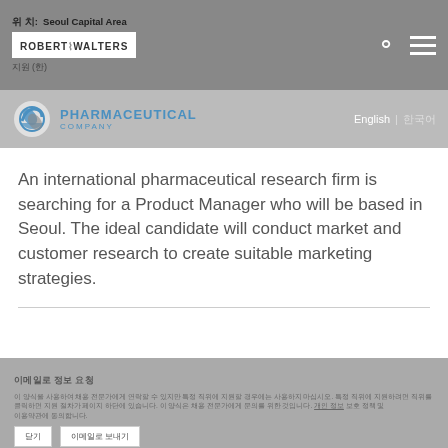위치: Seoul Capital Area | ROBERT WALTERS | 지원 (한)
[Figure (logo): Pharmaceutical Company logo with pill icon and blue text]
English | 한국어
An international pharmaceutical research firm is searching for a Product Manager who will be based in Seoul. The ideal candidate will conduct market and customer research to create suitable marketing strategies.
이메일로 정보 요청
이 양식을 사용하여 채용 전문가에게 연락할 수 있지만 특정 직위에 지원할 경우에는 사용하지 마십시오. 특정 직위에 지원하려면 직위를 클릭하면 지원 절차가 페이지 하단에 있습니다. 이 양식은 채용 전문가에게 문의를 위한 것입니다. 개인 정보 보호 정책 및 이용 약관에 동의합니다.
닫기 | 이메일로 보내기